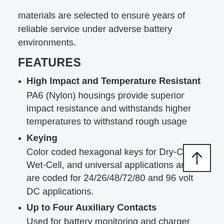materials are selected to ensure years of reliable service under adverse battery environments.
FEATURES
High Impact and Temperature Resistant — PA6 (Nylon) housings provide superior impact resistance and withstands higher temperatures to withstand rough usage
Keying — Color coded hexagonal keys for Dry-Cell, Wet-Cell, and universal applications and are coded for 24/26/48/72/80 and 96 volt DC applications.
Up to Four Auxiliary Contacts — Used for battery monitoring and charger communications. Auxiliary contact sizes